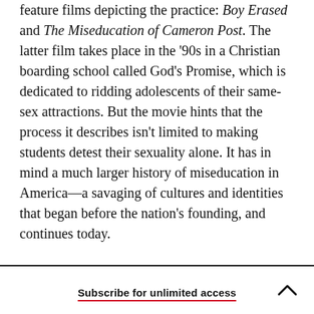feature films depicting the practice: Boy Erased and The Miseducation of Cameron Post. The latter film takes place in the '90s in a Christian boarding school called God's Promise, which is dedicated to ridding adolescents of their same-sex attractions. But the movie hints that the process it describes isn't limited to making students detest their sexuality alone. It has in mind a much larger history of miseducation in America—a savaging of cultures and identities that began before the nation's founding, and continues today.
Subscribe for unlimited access